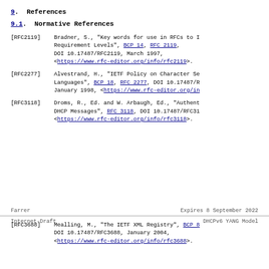9.  References
9.1.  Normative References
[RFC2119]   Bradner, S., "Key words for use in RFCs to Indicate Requirement Levels", BCP 14, RFC 2119, DOI 10.17487/RFC2119, March 1997, <https://www.rfc-editor.org/info/rfc2119>.
[RFC2277]   Alvestrand, H., "IETF Policy on Character Sets and Languages", BCP 18, RFC 2277, DOI 10.17487/RFC2277, January 1998, <https://www.rfc-editor.org/info/rfc2277>.
[RFC3118]   Droms, R., Ed. and W. Arbaugh, Ed., "Authentication for DHCP Messages", RFC 3118, DOI 10.17487/RFC3118, <https://www.rfc-editor.org/info/rfc3118>.
Farrer                    Expires 8 September 2022
Internet-Draft                    DHCPv6 YANG Model
[RFC3688]   Mealling, M., "The IETF XML Registry", BCP 81, DOI 10.17487/RFC3688, January 2004, <https://www.rfc-editor.org/info/rfc3688>.